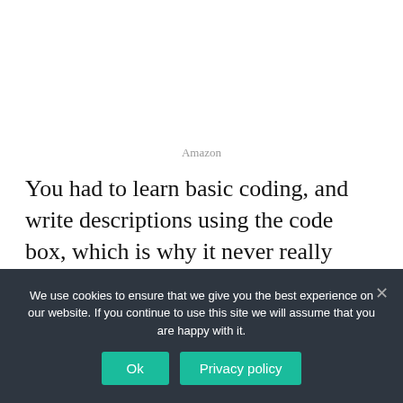Amazon
You had to learn basic coding, and write descriptions using the code box, which is why it never really took off.
Since then. The drop shipping space has been filled
We use cookies to ensure that we give you the best experience on our website. If you continue to use this site we will assume that you are happy with it.